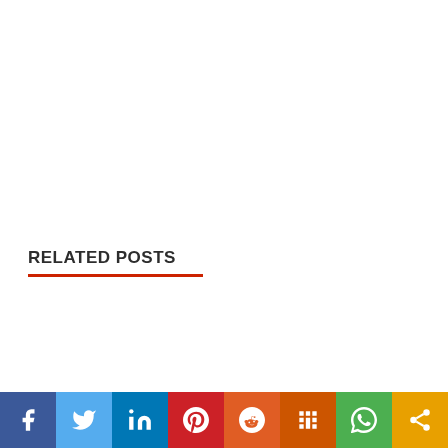RELATED POSTS
[Figure (other): Social media sharing bar with icons for Facebook, Twitter, LinkedIn, Pinterest, Reddit, Mix, WhatsApp, and Share]